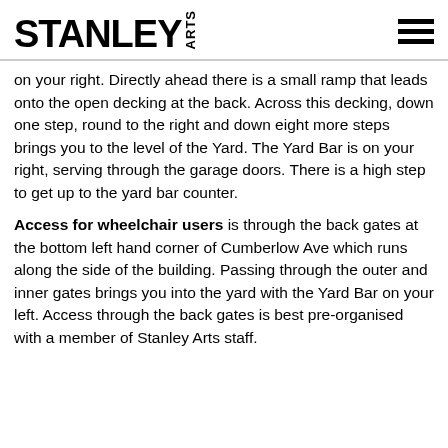STANLEY ARTS
on your right. Directly ahead there is a small ramp that leads onto the open decking at the back. Across this decking, down one step, round to the right and down eight more steps brings you to the level of the Yard. The Yard Bar is on your right, serving through the garage doors. There is a high step to get up to the yard bar counter.
Access for wheelchair users is through the back gates at the bottom left hand corner of Cumberlow Ave which runs along the side of the building. Passing through the outer and inner gates brings you into the yard with the Yard Bar on your left. Access through the back gates is best pre-organised with a member of Stanley Arts staff.